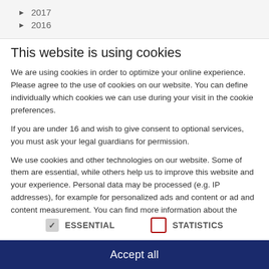► 2017
► 2016
This website is using cookies
We are using cookies in order to optimize your online experience. Please agree to the use of cookies on our website. You can define individually which cookies we can use during your visit in the cookie preferences.
If you are under 16 and wish to give consent to optional services, you must ask your legal guardians for permission.
We use cookies and other technologies on our website. Some of them are essential, while others help us to improve this website and your experience. Personal data may be processed (e.g. IP addresses), for example for personalized ads and content or ad and content measurement. You can find more information about the
✓ ESSENTIAL   □ STATISTICS
Accept all